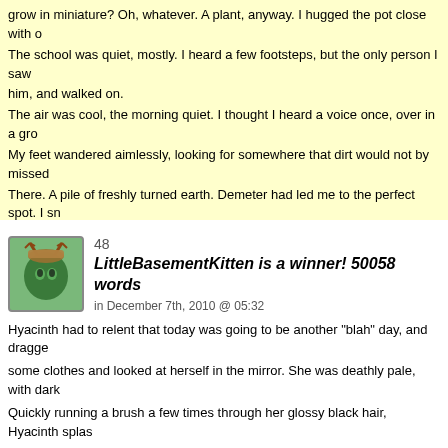grow in miniature? Oh, whatever. A plant, anyway. I hugged the pot close with o The school was quiet, mostly. I heard a few footsteps, but the only person I saw him, and walked on. The air was cool, the morning quiet. I thought I heard a voice once, over in a gr My feet wandered aimlessly, looking for somewhere that dirt would not by missed There. A pile of freshly turned earth. Demeter had led me to the perfect spot. I sm the pot was filled, I leaned forwards and concentrated. Slowly, slowly, the plants came up. I didn't grow them all the way, of course. It wo Just to the point where it was well up, putting out leaves. A pea plant. I sat back a had a plant.
0   0
48
LittleBasementKitten is a winner! 50058 words
in December 7th, 2010 @ 05:32
Hyacinth had to relent that today was going to be another "blah" day, and dragge some clothes and looked at herself in the mirror. She was deathly pale, with dark Quickly running a brush a few times through her glossy black hair, Hyacinth splas wake herself up, before stumbling out of the room like a zombie.
~~~~~
Mitzui was sure she was going to die at some point today. Maybe even this morn part of the building, contemplating different ways to commit suicide. Finally, she c way to go. But there were no real cliffs in the school. No matter. She would simpl
She walked out of the school and along the road until the rocks below became st the edge, her hair waving in the wind. And then, she jumped. Every fiber in her be she didn't listen. One hit on the head, and Mitzui was dead.
(Maybe she didn't like the story. Or she could comment it openly. RI